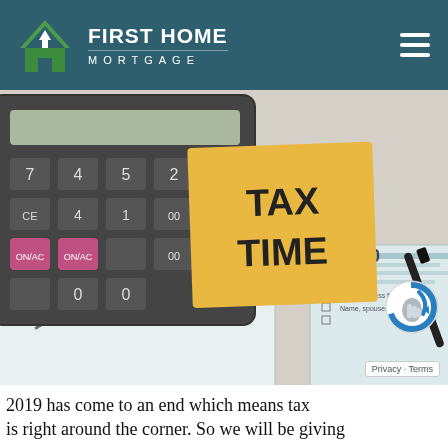FIRST HOME MORTGAGE
[Figure (photo): Calculator with black and pink keys shown beside a yellow sticky note reading 'TAX TIME' in black handwritten letters, resting on top of IRS 1040 tax forms on a white surface.]
2019 has come to an end which means tax is right around the corner. So we will be giving